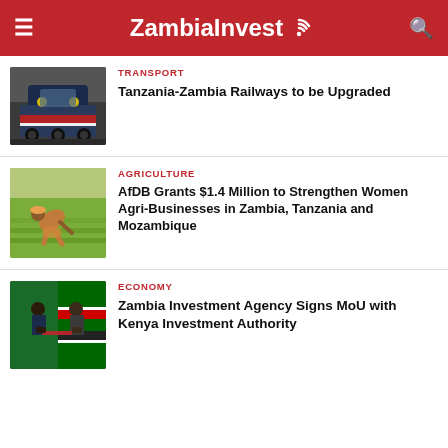ZambiaInvest
TRANSPORT
Tanzania-Zambia Railways to be Upgraded
AGRICULTURE
AfDB Grants $1.4 Million to Strengthen Women Agri-Businesses in Zambia, Tanzania and Mozambique
ECONOMY
Zambia Investment Agency Signs MoU with Kenya Investment Authority